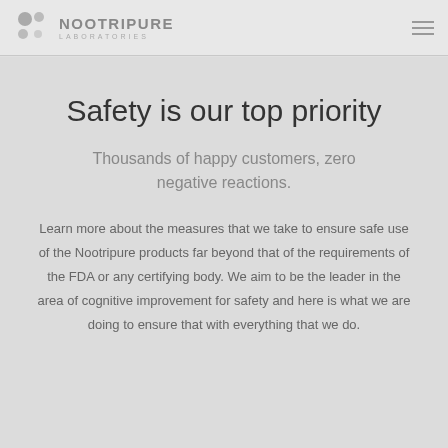NOOTRIPURE LABORATORIES
Safety is our top priority
Thousands of happy customers, zero negative reactions.
Learn more about the measures that we take to ensure safe use of the Nootripure products far beyond that of the requirements of the FDA or any certifying body. We aim to be the leader in the area of cognitive improvement for safety and here is what we are doing to ensure that with everything that we do.